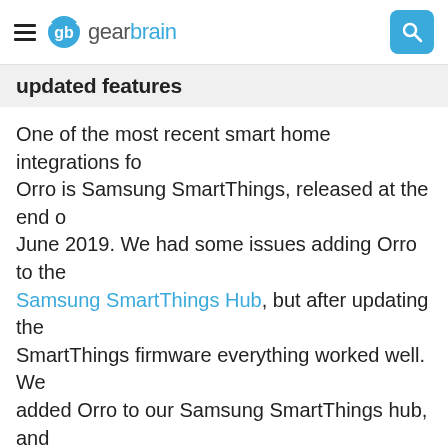gearbrain
updated features
One of the most recent smart home integrations for Orro is Samsung SmartThings, released at the end of June 2019. We had some issues adding Orro to the Samsung SmartThings Hub, but after updating the SmartThings firmware everything worked well. We added Orro to our Samsung SmartThings hub, and easily controlled the switch, adding it to existing routines controlled through the hub.
Here are the other Orro switch integrations the company has today:
Smart doorbells - Arlo
Smart locks - August and Yale Smart Locks